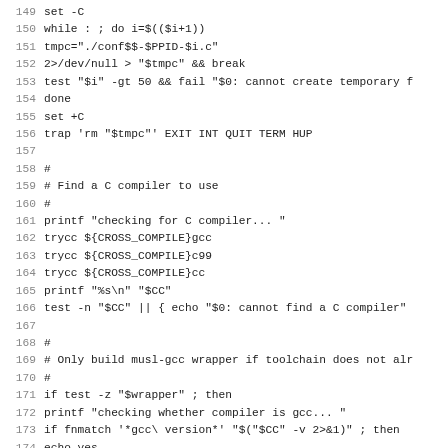Code listing lines 149-181, shell script for finding C compiler and building musl-gcc wrapper